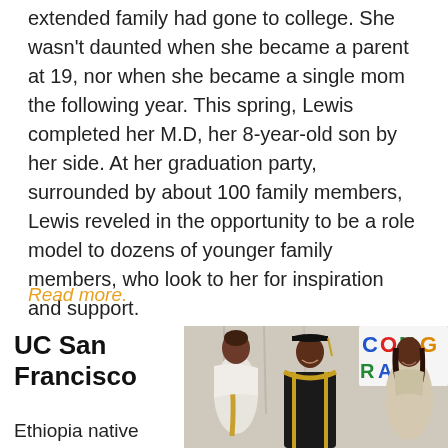extended family had gone to college. She wasn't daunted when she became a parent at 19, nor when she became a single mom the following year. This spring, Lewis completed her M.D, her 8-year-old son by her side. At her graduation party, surrounded by about 100 family members, Lewis reveled in the opportunity to be a role model to dozens of younger family members, who look to her for inspiration and support.
Read more.
UC San Francisco
[Figure (photo): Graduation photo showing three people: a woman in a white dress with gold trim on the left, a man in a black graduation gown with gold trim and a mortarboard cap in the center, and a woman in a light-colored dress on the right. In the background is a 'CONGRATULATIONS' banner.]
Ethiopia native